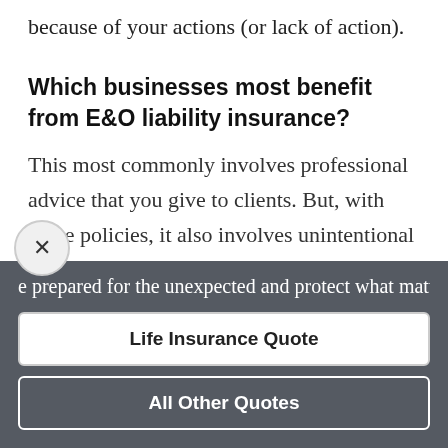because of your actions (or lack of action).
Which businesses most benefit from E&O liability insurance?
This most commonly involves professional advice that you give to clients. But, with some policies, it also involves unintentional violations of copyright and other intellectual property law or defamation such as
e prepared for the unexpected and protect what matt
Life Insurance Quote
All Other Quotes